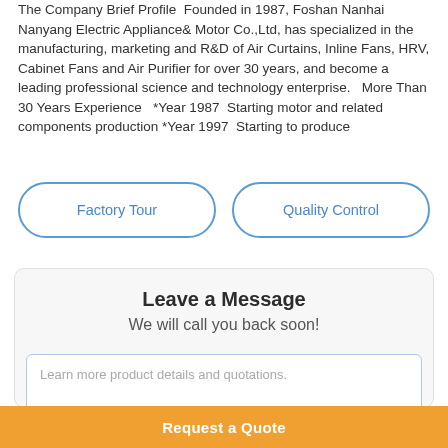The Company Brief Profile  Founded in 1987, Foshan Nanhai Nanyang Electric Appliance& Motor Co.,Ltd, has specialized in the manufacturing, marketing and R&D of Air Curtains, Inline Fans, HRV, Cabinet Fans and Air Purifier for over 30 years, and become a leading professional science and technology enterprise.  More Than 30 Years Experience  *Year 1987  Starting motor and related components production *Year 1997  Starting to produce
Learn more >
Factory Tour
Quality Control
Leave a Message
We will call you back soon!
Learn more product details and quotations.
Request a Quote